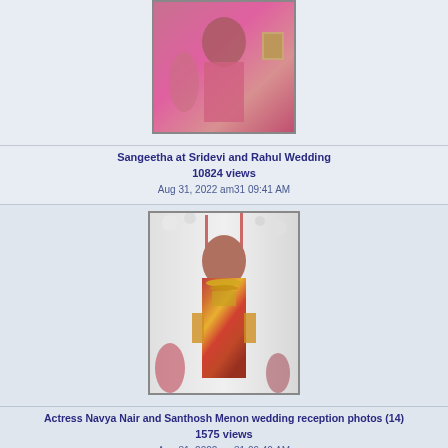[Figure (photo): Partial view of a woman in pink saree at a wedding]
Sangeetha at Sridevi and Rahul Wedding
10824 views
Aug 31, 2022 am31 09:41 AM
[Figure (photo): Actress in red and yellow traditional wedding attire with gold jewelry, floral background]
Actress Navya Nair and Santhosh Menon wedding reception photos (14)
1575 views
Aug 31, 2022 am31 09:40 AM
11147 files on 744 page(s)  Jump to page  139 ▼  ◄  1 - 138  139
Powered by Coppermine Photo Gallery